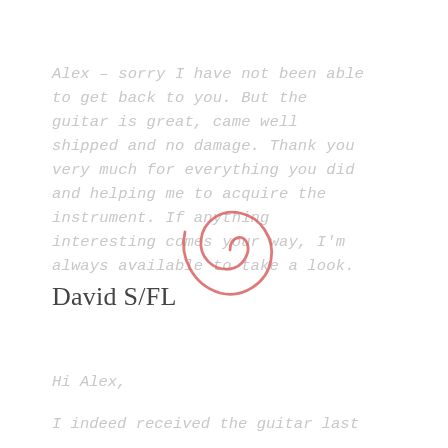Alex – sorry I have not been able to get back to you. But the guitar is great, came well shipped and no damage. Thank you very much for everything you did and helping me to acquire the instrument. If anything interesting comes your way, I'm always available to take a look.
David S/FL
Hi Alex,
I indeed received the guitar last